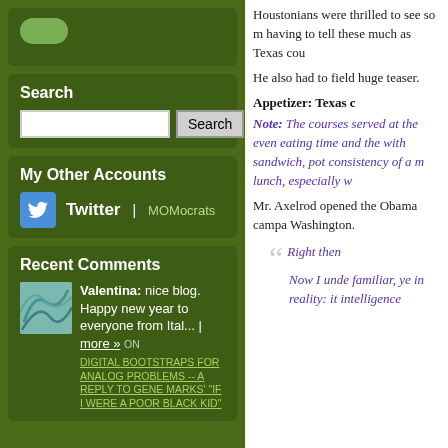[Figure (other): Green oval logo/leaf icon in top left widget]
Search
Search input and button
My Other Accounts
Twitter | MOMocrats
Recent Comments
Valentina: nice blog. Happy new year to everyone from Ital... | more »
ON DIGITAL BOOTSTRAPS FOR ANALOG PROBLEMS -- A REPLY TO GENE MARKS' "IF I WERE A POOR BLACK KID"
Houstonians were thrilled to see so m having to tell these much as Texas cou
He also had to field huge teaser.
Appetizer: Texas c
Note: The courses served at the even eating time and the with sandwich, pot consistency of a m lunch, especially w
Mr. Axelrod opened the Obama campa Washington.
Right then
Now I unde familiar, ye in reality: it intelligence